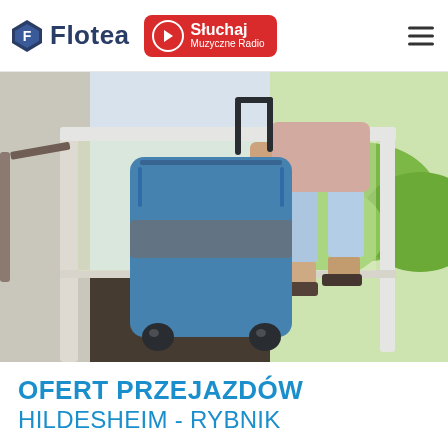Flotea | Słuchaj Muzyczne Radio
[Figure (photo): Person walking with a blue wheeled suitcase through a doorway, viewed from behind. They are wearing light blue shorts and sandals. The scene shows an entryway with a door opening to a bright outdoor garden area.]
OFERT PRZEJAZDÓW
HILDESHEIM - RYBNIK